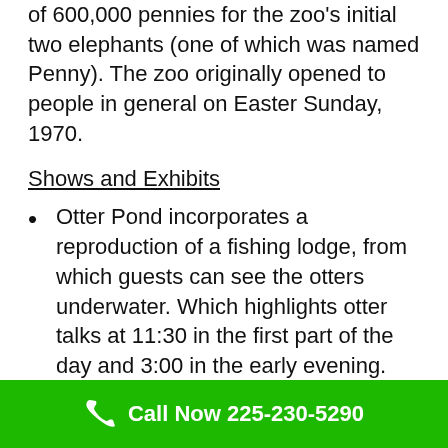of 600,000 pennies for the zoo's initial two elephants (one of which was named Penny). The zoo originally opened to people in general on Easter Sunday, 1970.
Shows and Exhibits
Otter Pond incorporates a reproduction of a fishing lodge, from which guests can see the otters underwater. Which highlights otter talks at 11:30 in the first part of the day and 3:00 in the early evening. Where you can hear from animal specialists and ask them inquiries.
La Aquarium de Louisiana is a cooled working close the rear of the zoo.
Call Now 225-230-5290